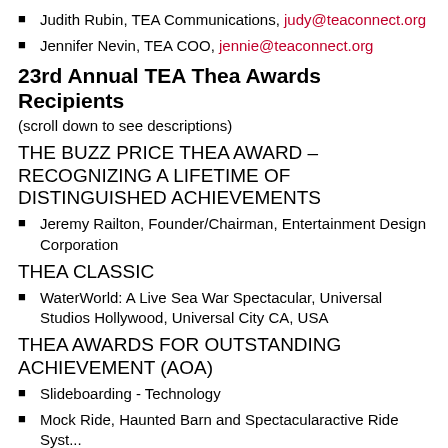Judith Rubin, TEA Communications, judy@teaconnect.org
Jennifer Nevin, TEA COO, jennie@teaconnect.org
23rd Annual TEA Thea Awards Recipients
(scroll down to see descriptions)
THE BUZZ PRICE THEA AWARD – RECOGNIZING A LIFETIME OF DISTINGUISHED ACHIEVEMENTS
Jeremy Railton, Founder/Chairman, Entertainment Design Corporation
THEA CLASSIC
WaterWorld: A Live Sea War Spectacular, Universal Studios Hollywood, Universal City CA, USA
THEA AWARDS FOR OUTSTANDING ACHIEVEMENT (AOA)
Slideboarding - Technology
Mock Ride, Haunted Barn and Spectacularactive Ride Syst...